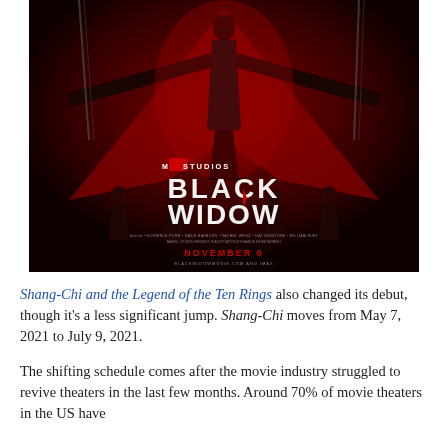[Figure (photo): Movie poster for Marvel Studios Black Widow. Dark red and black poster showing a figure in black suit with arms spread, silhouettes of characters below, with 'MARVEL STUDIOS BLACK WIDOW' title text and 'NOVEMBER 6' release date.]
Shang-Chi and the Legend of the Ten Rings also changed its debut, though it's a less significant jump. Shang-Chi moves from May 7, 2021 to July 9, 2021.
The shifting schedule comes after the movie industry struggled to revive theaters in the last few months. Around 70% of movie theaters in the US have